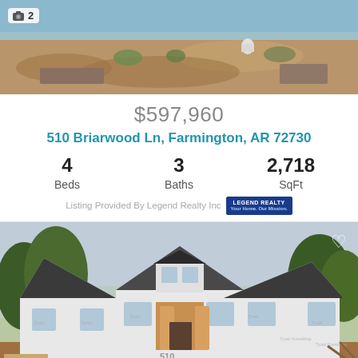[Figure (photo): Aerial/ground view of construction site with dirt and sparse vegetation, sky visible at top]
📷 2
$597,960
510 Briarwood Ln, Farmington, AR 72730
4 Beds | 3 Baths | 2,718 SqFt
Listing Provided By Legend Realty Inc
[Figure (photo): Under-construction house wrapped in Tyvek house wrap, craftsman style with multiple gables, wooden porch framing, red dirt yard]